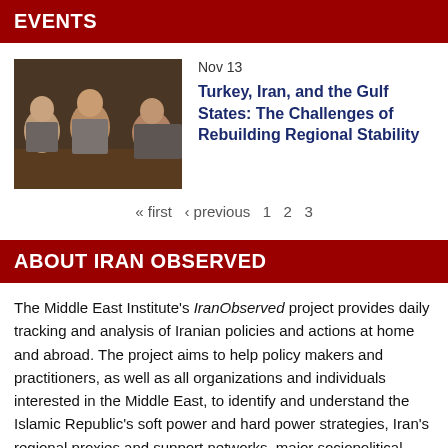EVENTS
[Figure (photo): Three men in suits sitting at a table, appearing to be in discussion at a conference or panel event.]
Nov 13
Turkey, Iran, and the Gulf States: The Challenges of Rebuilding Regional Stability
« first ‹ previous 1 2 3
ABOUT IRAN OBSERVED
The Middle East Institute's IranObserved project provides daily tracking and analysis of Iranian policies and actions at home and abroad. The project aims to help policy makers and practitioners, as well as all organizations and individuals interested in the Middle East, to identify and understand the Islamic Republic's soft power and hard power strategies, Iran's regional proxies and support networks, major sociopolitical developments inside Iran, and Iranian political and military leaders that shape and implement Tehran's domestic and external actions. The reports and analysis are drawn